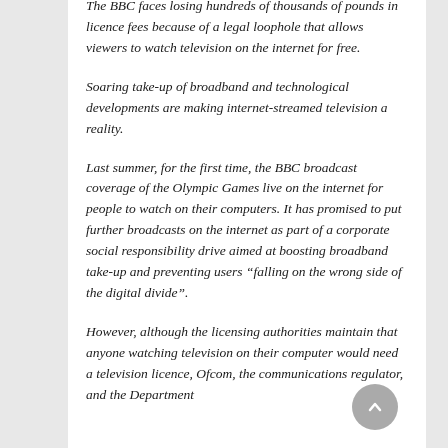The BBC faces losing hundreds of thousands of pounds in licence fees because of a legal loophole that allows viewers to watch television on the internet for free.
Soaring take-up of broadband and technological developments are making internet-streamed television a reality.
Last summer, for the first time, the BBC broadcast coverage of the Olympic Games live on the internet for people to watch on their computers. It has promised to put further broadcasts on the internet as part of a corporate social responsibility drive aimed at boosting broadband take-up and preventing users “falling on the wrong side of the digital divide”.
However, although the licensing authorities maintain that anyone watching television on their computer would need a television licence, Ofcom, the communications regulator, and the Department